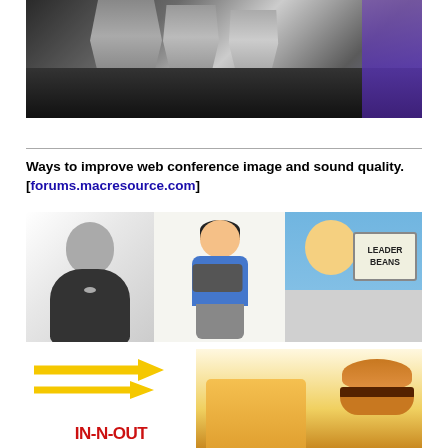[Figure (photo): Close-up photo of a metallic gauntlet or armored glove with dark background and purple sleeve visible on the right side]
Ways to improve web conference image and sound quality. [forums.macresource.com]
[Figure (photo): Collage of three images: black and white photo of Steve Jobs, cartoon illustration of a cameraman, and animated image of Homer Simpson looking at a sign reading 'LEADER BEANS']
[Figure (photo): Bottom collage showing In-N-Out Burger logo on the left and a burger with fries and cup on the right]